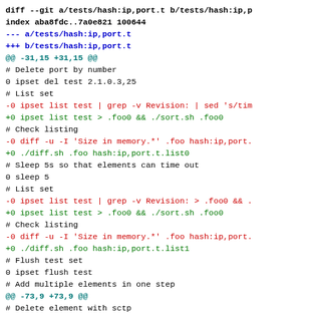[Figure (screenshot): A unified diff output (git diff) for tests/hash:ip,port.t shown as syntax-highlighted code. Lines in black are context, red are removed lines (prefixed with -0), green are added lines (prefixed with +0), blue/cyan are diff headers and hunk markers.]